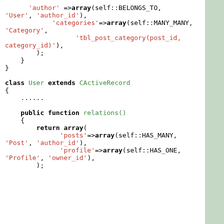[Figure (screenshot): Code snippet showing PHP class definitions with relations() methods, including BELONGS_TO, MANY_MANY, HAS_MANY, and HAS_ONE relationship declarations for Post and User ActiveRecord classes.]